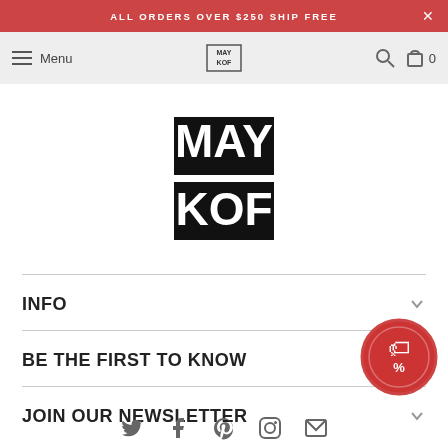ALL ORDERS OVER $250 SHIP FREE
[Figure (screenshot): Navigation bar with hamburger menu, Menu text, MAY KOF logo, search icon, and cart icon with 0]
[Figure (logo): MAY KOF brand logo in large black stylized text]
INFO
BE THE FIRST TO KNOW
JOIN OUR NEWSLETTER
[Figure (other): Social media icons row: Twitter, Facebook, Pinterest, Instagram, Email]